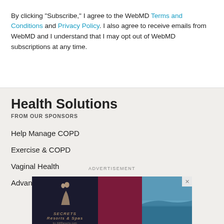By clicking "Subscribe," I agree to the WebMD Terms and Conditions and Privacy Policy. I also agree to receive emails from WebMD and I understand that I may opt out of WebMD subscriptions at any time.
Health Solutions
FROM OUR SPONSORS
Help Manage COPD
Exercise & COPD
Vaginal Health
Advanced SM Treatment
ADVERTISEMENT
[Figure (photo): Advertisement banner for Secrets Resorts & Spas showing a beach/ocean scene with a couple, a dark maroon center panel, and an ocean background on the right. A close button (X) appears in the top right.]